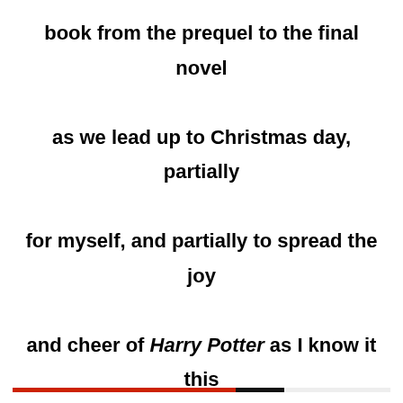book from the prequel to the final novel as we lead up to Christmas day, partially for myself, and partially to spread the joy and cheer of Harry Potter as I know it this Christmas. Enjoy!
Sponsored Content
Privacy & Cookies: This site uses cookies. By continuing to use this website, you agree to their use.
To find out more, including how to control cookies, see here: Cookie Policy